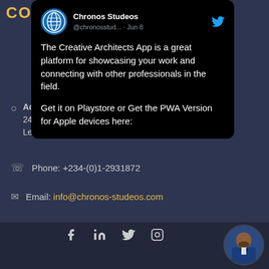CONTACT US
[Figure (screenshot): Twitter/X post from Chronos Studeos (@chronosstud...) dated Jun 8 saying: The Creative Architects App is a great platform for showcasing your work and connecting with other professionals in the field. Get it on Playstore or Get the PWA Version for Apple devices here:]
Address: 24 Niri Okunu Street, Lekki Phase 1, Lagos
Phone: +234-(0)1-2931872
Email: info@chronos-studeos.com
[Figure (infographic): Footer with social media icons: Facebook, LinkedIn, Twitter, Instagram, and a circular profile photo of a man in a blue suit]